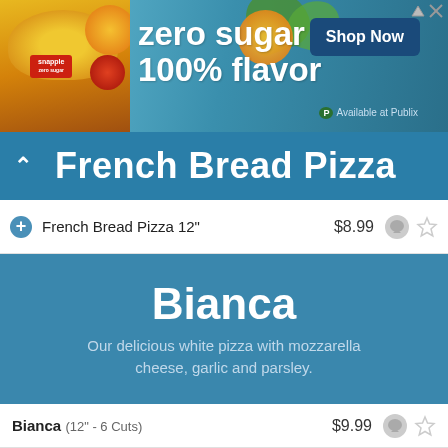[Figure (photo): Snapple zero sugar advertisement banner with peaches, green leaves, text 'zero sugar 100% flavor', 'Shop Now' button and 'Available at Publix' text]
French Bread Pizza
French Bread Pizza 12"	$8.99
Bianca
Our delicious white pizza with mozzarella cheese, garlic and parsley.
Bianca (12" - 6 Cuts)	$9.99
Bianca (14" - 8 Cuts)	$11.99
Bianca (16" - 12 Cuts)	$13.99
Bianca (18" - 12 Cuts)	$15.99